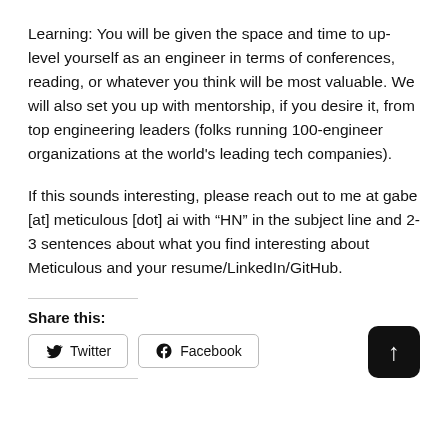Learning: You will be given the space and time to up-level yourself as an engineer in terms of conferences, reading, or whatever you think will be most valuable. We will also set you up with mentorship, if you desire it, from top engineering leaders (folks running 100-engineer organizations at the world's leading tech companies).
If this sounds interesting, please reach out to me at gabe [at] meticulous [dot] ai with “HN” in the subject line and 2-3 sentences about what you find interesting about Meticulous and your resume/LinkedIn/GitHub.
Share this:
[Figure (other): Twitter and Facebook share buttons, and a dark rounded square scroll-to-top button with an upward arrow.]